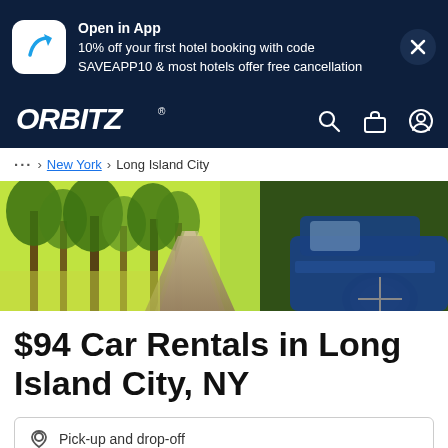[Figure (screenshot): App promotion banner with Orbitz icon, 'Open in App' text, discount offer, and close button on dark navy background]
[Figure (logo): Orbitz logo in white italic bold text on dark navy navigation bar with search, bag, and account icons]
... > New York > Long Island City
[Figure (photo): Hero banner photo of a sunny tree-lined road with a blue car visible on the right side]
$94 Car Rentals in Long Island City, NY
Pick-up and drop-off